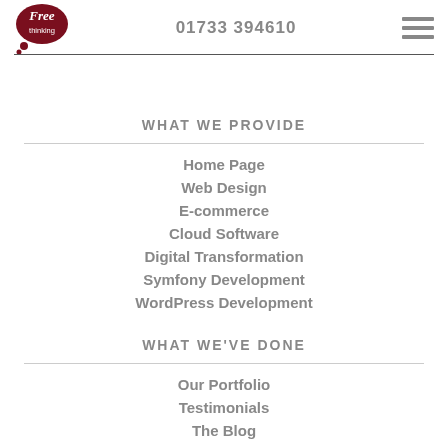[Figure (logo): Free Thinking logo — stylized speech bubble with swirly 'Free' text and 'thinking' below, dark red/maroon color]
01733 394610
[Figure (other): Hamburger menu icon — three horizontal grey bars]
WHAT WE PROVIDE
Home Page
Web Design
E-commerce
Cloud Software
Digital Transformation
Symfony Development
WordPress Development
WHAT WE'VE DONE
Our Portfolio
Testimonials
The Blog